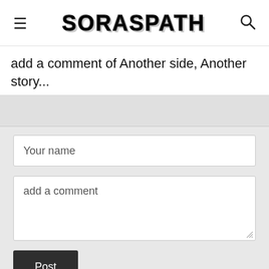≡  SORASPATH  🔍
add a comment of Another side, Another story...
[Figure (screenshot): Comment form with 'Your name' text input field, 'add a comment' textarea, and a dark 'Post' button, all on a light grey background.]